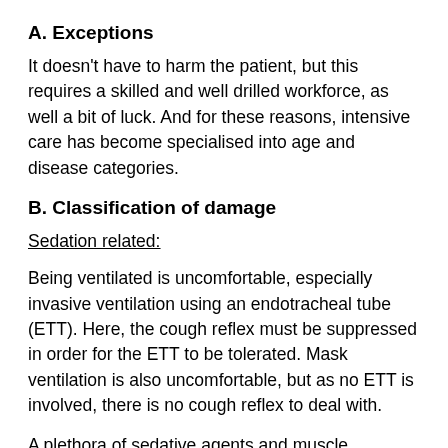A. Exceptions
It doesn't have to harm the patient, but this requires a skilled and well drilled workforce, as well a bit of luck. And for these reasons, intensive care has become specialised into age and disease categories.
B. Classification of damage
Sedation related:
Being ventilated is uncomfortable, especially invasive ventilation using an endotracheal tube (ETT). Here, the cough reflex must be suppressed in order for the ETT to be tolerated. Mask ventilation is also uncomfortable, but as no ETT is involved, there is no cough reflex to deal with.
A plethora of sedative agents and muscle relaxants have been used. All have unwanted effects. Without getting into